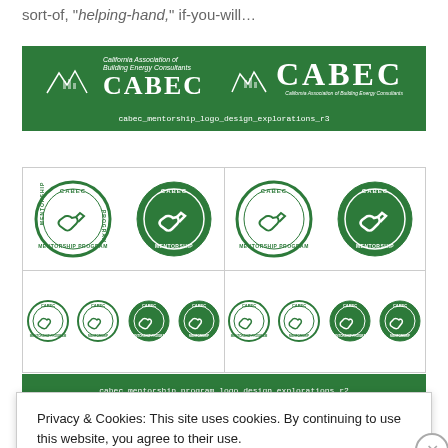sort-of, “helping-hand,” if-you-will…
[Figure (logo): CABEC (California Association of Building Energy Consultants) banner with two logo variations on green background, labeled cabec_mentorship_logo_design_explorations_r3]
[Figure (logo): Grid of CABEC Mentorship Program circular badge logo explorations in green and white, various sizes, labeled cabec_mentorship_program_logo_design_explorations_r2]
Privacy & Cookies: This site uses cookies. By continuing to use this website, you agree to their use.
To find out more, including how to control cookies, see here: Cookie Policy